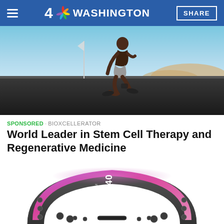4 NBC WASHINGTON | SHARE
[Figure (photo): Shirtless male athlete in starting position on a road in a desert landscape, leaning forward with hands on the ground, wearing gray shorts and black sneakers. A pole/flag is visible in the background.]
SPONSORED · BIOXCELLERATOR
World Leader in Stem Cell Therapy and Regenerative Medicine
[Figure (photo): A modern curved smart fitness wearable/wristband device with a vivid purple-to-pink gradient display showing the time 12:40. The device has a dark gray body with small buttons on its sides.]